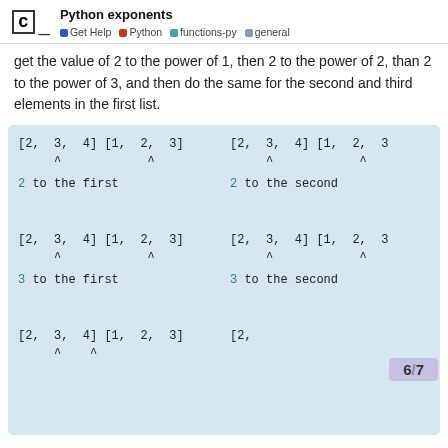Python exponents — Get Help | Python | functions-py | general
get the value of 2 to the power of 1, then 2 to the power of 2, than 2 to the power of 3, and then do the same for the second and third elements in the first list.
[Figure (illustration): Four code diagrams showing list iteration with exponents. Top-left: [2, 3, 4] [1, 2, 3] with arrows pointing to '2 to the first'. Top-right: [2, 3, 4] [1, 2, 3] with arrows pointing to '2 to the second'. Bottom-left: [2, 3, 4] [1, 2, 3] with arrows pointing to '3 to the first'. Bottom-right: [2, 3, 4] [1, 2, 3] with arrows pointing to '3 to the second'. Plus a partial bottom row with [2, 3, 4] [1, 2, 3] on left and [2, ...] on right.]
6 / 7